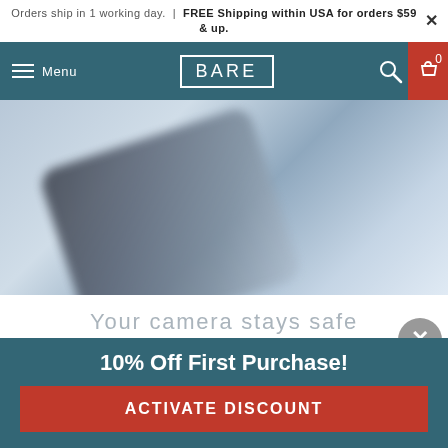Orders ship in 1 working day. | FREE Shipping within USA for orders $59 & up.
[Figure (screenshot): E-commerce website navigation bar with teal background, hamburger menu, BARE logo, search icon, and shopping cart icon with 0 items]
[Figure (photo): Blurred close-up photo of a phone camera corner against a light blue background]
Your camera stays safe
Subtle camera lip
The camera cutout is raised just a hair so it stays
10% Off First Purchase!
ACTIVATE DISCOUNT